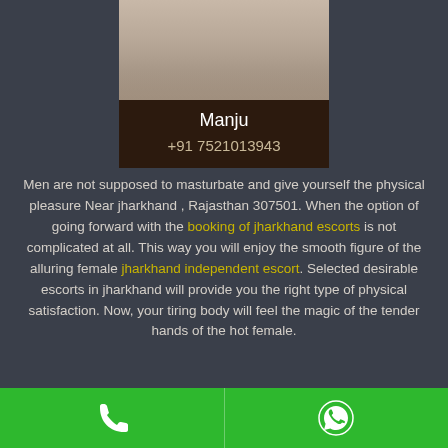[Figure (photo): Profile photo card showing a person named Manju with phone number +91 7521013943]
Manju
+91 7521013943
Men are not supposed to masturbate and give yourself the physical pleasure Near jharkhand , Rajasthan 307501. When the option of going forward with the booking of jharkhand escorts is not complicated at all. This way you will enjoy the smooth figure of the alluring female jharkhand independent escort. Selected desirable escorts in jharkhand will provide you the right type of physical satisfaction. Now, your tiring body will feel the magic of the tender hands of the hot female.
Hire Escorts in jharkhand that loves in a superb manner
[Figure (infographic): Green bottom bar with phone icon on left and WhatsApp icon on right]